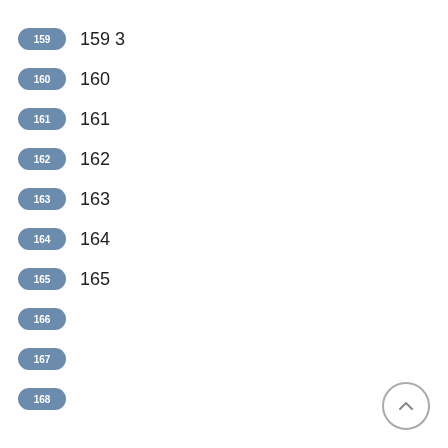159  159 3
160  160
161  161
162  162
163  163
164  164
165  165
166
167
168
[Figure (other): Back to top navigation button — circle with upward chevron]